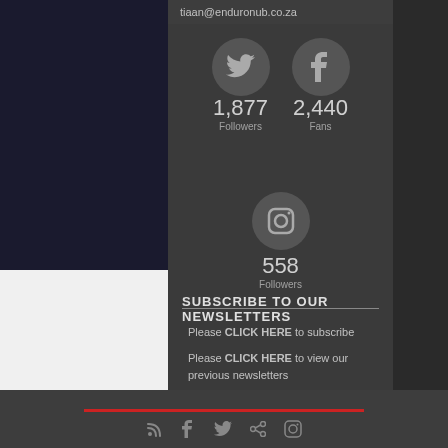tiaan@enduronub.co.za
[Figure (infographic): Twitter icon circle with 1,877 Followers and Facebook icon circle with 2,440 Fans]
[Figure (infographic): Instagram icon circle with 558 Followers]
SUBSCRIBE TO OUR NEWSLETTERS
Please CLICK HERE to subscribe
Please CLICK HERE to view our previous newsletters
RSS Facebook Twitter Share Instagram icons